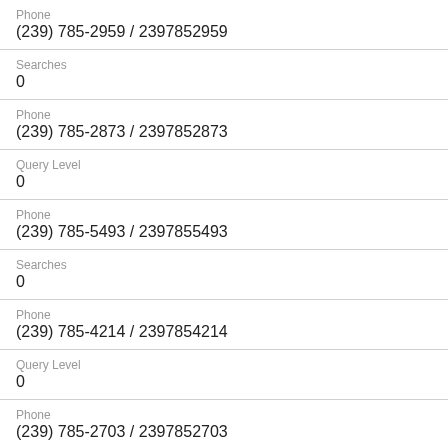Phone
(239) 785-2959 / 2397852959
Searches
0
Phone
(239) 785-2873 / 2397852873
Query Level
0
Phone
(239) 785-5493 / 2397855493
Searches
0
Phone
(239) 785-4214 / 2397854214
Query Level
0
Phone
(239) 785-2703 / 2397852703